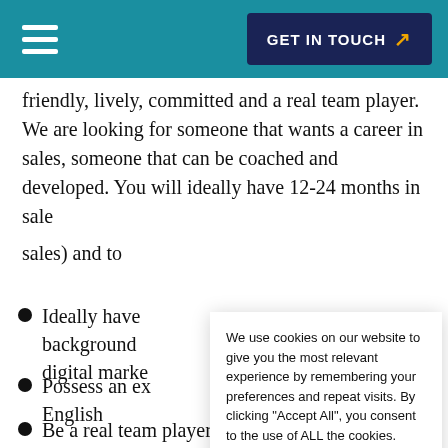GET IN TOUCH
friendly, lively, committed and a real team player. We are looking for someone that wants a career in sales, someone that can be coached and developed. You will ideally have 12-24 months in sales (or a background in sales) and to
Ideally have a background in digital marketing
Possess an excellent command of English
Be a real team player and have the ability to
We use cookies on our website to give you the most relevant experience by remembering your preferences and repeat visits. By clicking "Accept All", you consent to the use of ALL the cookies. However, you may visit "Cookie Settings" to provide a controlled consent.